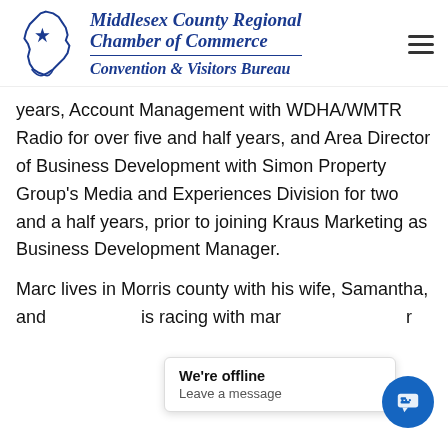[Figure (logo): Middlesex County Regional Chamber of Commerce Convention & Visitors Bureau logo with NJ state outline and star on left, italic bold blue text on right, with hamburger menu icon]
years, Account Management with WDHA/WMTR Radio for over five and half years, and Area Director of Business Development with Simon Property Group's Media and Experiences Division for two and a half years, prior to joining Kraus Marketing as Business Development Manager.
Marc lives in Morris county with his wife, Samantha, and [obscured] is racing with mar[obscured] r